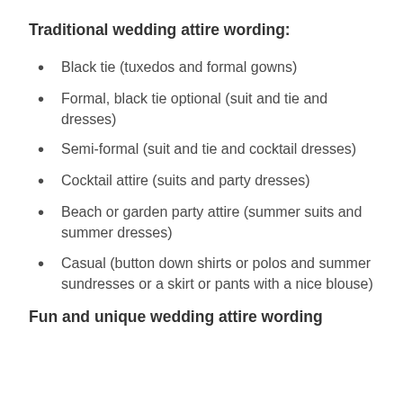Traditional wedding attire wording:
Black tie (tuxedos and formal gowns)
Formal, black tie optional (suit and tie and dresses)
Semi-formal (suit and tie and cocktail dresses)
Cocktail attire (suits and party dresses)
Beach or garden party attire (summer suits and summer dresses)
Casual (button down shirts or polos and summer sundresses or a skirt or pants with a nice blouse)
Fun and unique wedding attire wording